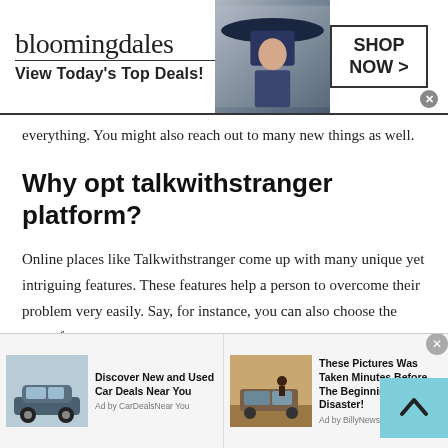[Figure (screenshot): Bloomingdale's advertisement banner: logo text 'bloomingdales', tagline 'View Today's Top Deals!', fashion model with hat, and 'SHOP NOW >' button]
everything. You might also reach out to many new things as well.
Why opt talkwithstranger platform?
Online places like Talkwithstranger come up with many unique yet intriguing features. These features help a person to overcome their problem very easily. Say, for instance, you can also choose the type of
[Figure (screenshot): Bottom ad bar with two ad units: 'Discover New and Used Car Deals Near You' by CarDealsNearYou, and 'These Pictures Was Taken Minutes Before The Beginning Of The Disaster!' by BillyNews]